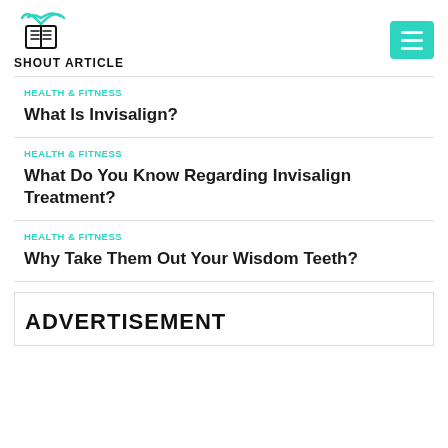[Figure (logo): Shout Article logo: book with wifi signal icon above text SHOUT ARTICLE]
HEALTH & FITNESS
What Is Invisalign?
HEALTH & FITNESS
What Do You Know Regarding Invisalign Treatment?
HEALTH & FITNESS
Why Take Them Out Your Wisdom Teeth?
ADVERTISEMENT